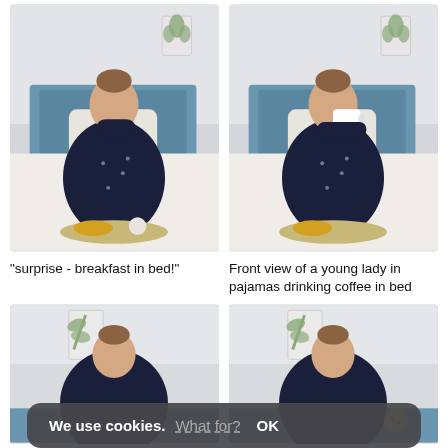[Figure (photo): Woman in dark navy pajamas sitting on white bed with breakfast tray, covering mouth/nose with hand, blue headboard visible]
[Figure (photo): Woman in dark navy pajamas sitting on white bed drinking from white mug, breakfast tray visible, blue headboard]
"surprise - breakfast in bed!"
Front view of a young lady in pajamas drinking coffee in bed
[Figure (photo): Woman in dark navy pajamas on bed, partially cropped, plant visible in background]
[Figure (photo): Woman in dark navy pajamas on bed holding a cookie, partially cropped, plant visible in background]
We use cookies. What for? OK